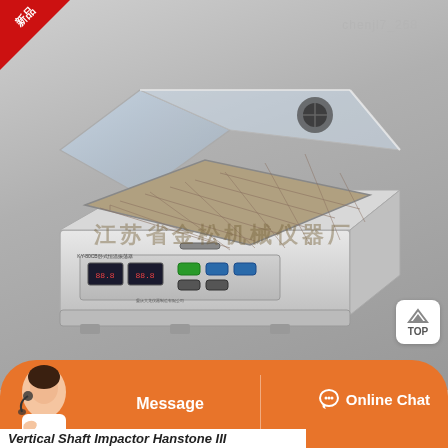[Figure (photo): Laboratory incubator shaker equipment with transparent lid open showing grid tray, control panel with digital display and buttons, branded with Chinese manufacturer watermark text '江苏省金松机械仪器厂'. Red '新品' (new product) ribbon in top-left corner.]
Message
Online Chat
Vertical Shaft Impactor Hanstone III